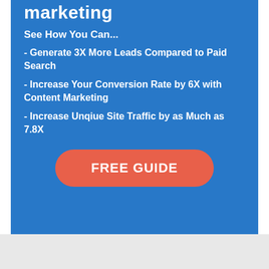marketing
See How You Can...
- Generate 3X More Leads Compared to Paid Search
- Increase Your Conversion Rate by 6X with Content Marketing
- Increase Unqiue Site Traffic by as Much as 7.8X
FREE GUIDE